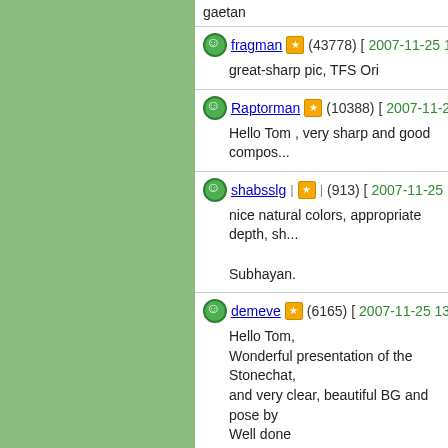gaetan
fragman ★ (43778) [2007-11-25 11:43]
great-sharp pic, TFS Ori
Raptorman ★ (10388) [2007-11-25 11:5...]
Hello Tom , very sharp and good compos...
shabsslg ★ (913) [2007-11-25 13:04]
nice natural colors, appropriate depth, sh...
Subhayan.
demeve ★ (6165) [2007-11-25 13:52]
Hello Tom,
Wonderful presentation of the Stonechat,
and very clear, beautiful BG and pose by
Well done
Everton
rousettus ★ (19818) [2007-11-25 13:56]
Hi Tom,
what a nice shot of this beautiful bird. It is...
details and sharpness. POV/DOF and ey...
and light also very nice. thanks.
best wishes